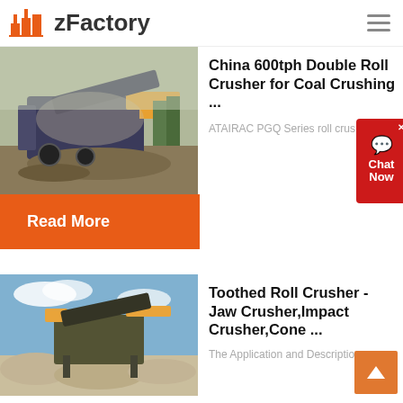zFactory
[Figure (photo): Industrial crusher/screening machine in outdoor setting with dust and gravel]
China 600tph Double Roll Crusher for Coal Crushing ...
ATAIRAC PGQ Series roll crus...
Read More
[Figure (photo): Jaw crusher and stone crushing plant with blue sky background]
Toothed Roll Crusher - Jaw Crusher,Impact Crusher,Cone ...
The Application and Description ...